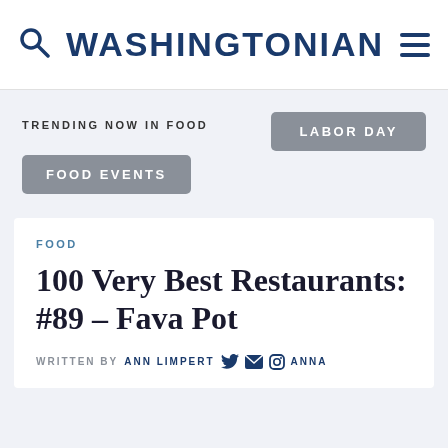WASHINGTONIAN
TRENDING NOW IN FOOD
LABOR DAY
FOOD EVENTS
FOOD
100 Very Best Restaurants: #89 – Fava Pot
WRITTEN BY ANN LIMPERT  ANNA